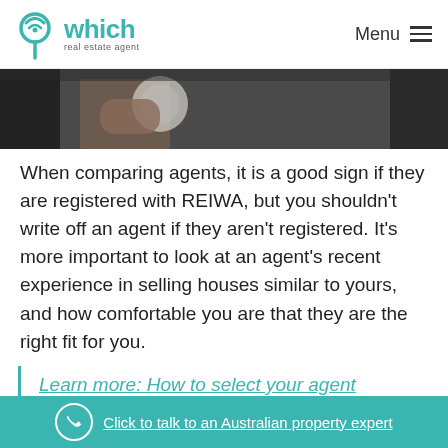which real estate agent — Menu
[Figure (photo): Partial photo showing a person holding a coffee cup, dark background, cropped at top]
When comparing agents, it is a good sign if they are registered with REIWA, but you shouldn't write off an agent if they aren't registered. It's more important to look at an agent's recent experience in selling houses similar to yours, and how comfortable you are that they are the right fit for you.
Learn more: How to select your agent
Are low commission agents worth
Click to talk to an Australian property expert